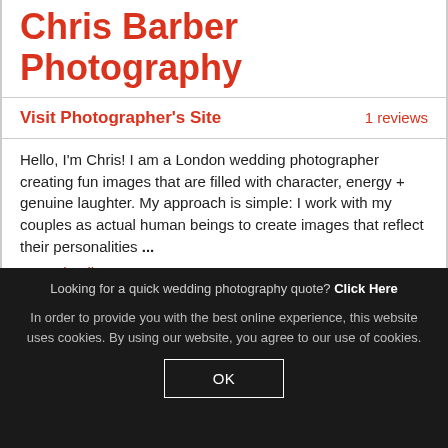Chris Barber Photography
Visit Photographer's Site    1 reviews
Hello, I'm Chris! I am a London wedding photographer creating fun images that are filled with character, energy + genuine laughter. My approach is simple: I work with my couples as actual human beings to create images that reflect their personalities ... More details...
Looking for a quick wedding photography quote? Click Here
In order to provide you with the best online experience, this website uses cookies. By using our website, you agree to our use of cookies.
OK